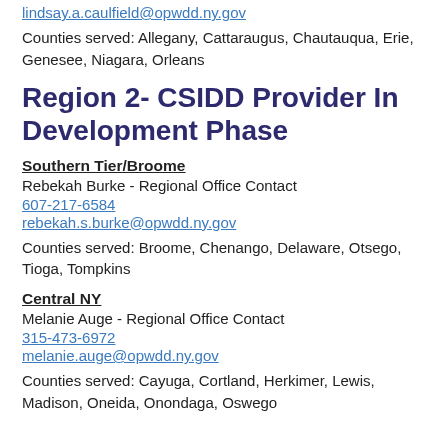lindsay.a.caulfield@opwdd.ny.gov
Counties served: Allegany, Cattaraugus, Chautauqua, Erie, Genesee, Niagara, Orleans
Region 2- CSIDD Provider In Development Phase
Southern Tier/Broome
Rebekah Burke - Regional Office Contact
607-217-6584
rebekah.s.burke@opwdd.ny.gov
Counties served: Broome, Chenango, Delaware, Otsego, Tioga, Tompkins
Central NY
Melanie Auge - Regional Office Contact
315-473-6972
melanie.auge@opwdd.ny.gov
Counties served: Cayuga, Cortland, Herkimer, Lewis, Madison, Oneida, Onondaga, Oswego